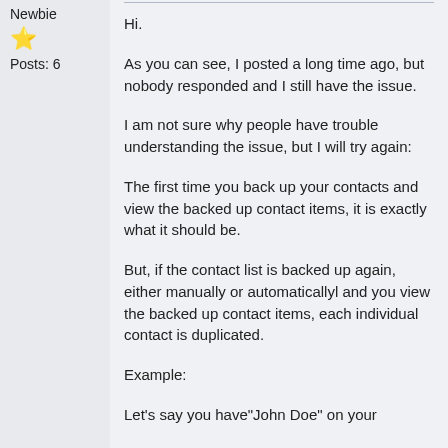Newbie
⭐
Posts: 6
Hi.
As you can see, I posted a long time ago, but nobody responded and I still have the issue.
I am not sure why people have trouble understanding the issue, but I will try again:
The first time you back up your contacts and view the backed up contact items, it is exactly what it should be.
But, if the contact list is backed up again, either manually or automaticallyl and you view the backed up contact items, each individual contact is duplicated.
Example:
Let's say you have"John Doe" on your